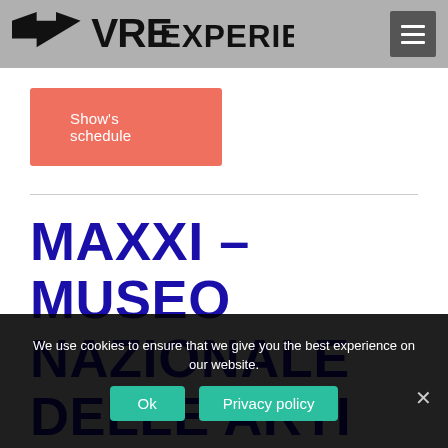VRE EXPERIENCE [logo with hamburger menu]
[Figure (logo): VRE Experience logo text in black on grey header bar with hamburger menu button on right]
Show's schedule
MAXXI - MUSEO NAZIONALE DELLE ARTI DEL XXI SECOLO
We use cookies to ensure that we give you the best experience on our website.
Ok   Privacy policy